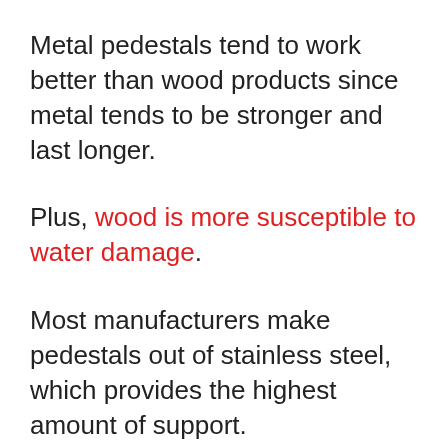Metal pedestals tend to work better than wood products since metal tends to be stronger and last longer.
Plus, wood is more susceptible to water damage.
Most manufacturers make pedestals out of stainless steel, which provides the highest amount of support.
However, you can also find pedestals made from aluminum, aluminum alloys, or galvanized steel